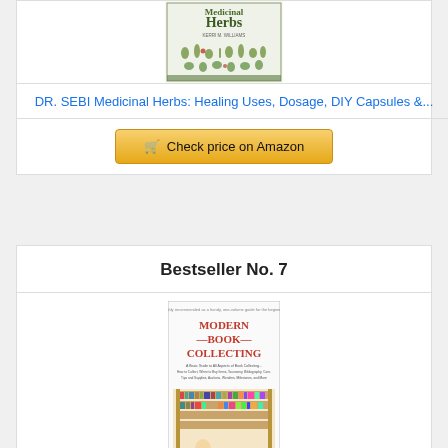[Figure (photo): Book cover for DR. SEBI Medicinal Herbs showing herb illustrations]
DR. SEBI Medicinal Herbs: Healing Uses, Dosage, DIY Capsules &...
Check price on Amazon
Bestseller No. 7
[Figure (photo): Book cover for Modern Book Collecting]